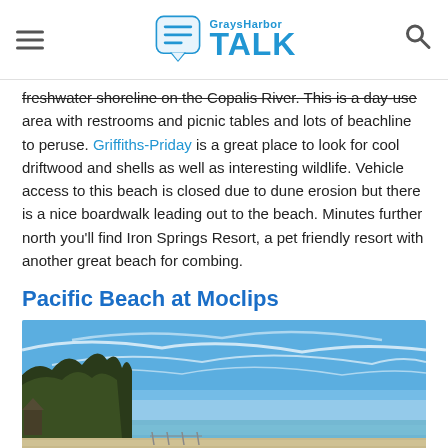GraysHarbor TALK
freshwater shoreline on the Copalis River. This is a day-use area with restrooms and picnic tables and lots of beachline to peruse. Griffiths-Priday is a great place to look for cool driftwood and shells as well as interesting wildlife. Vehicle access to this beach is closed due to dune erosion but there is a nice boardwalk leading out to the beach. Minutes further north you'll find Iron Springs Resort, a pet friendly resort with another great beach for combing.
Pacific Beach at Moclips
[Figure (photo): Beach scene at Moclips showing a wide sandy beach with blue sky and wispy clouds, dark forested headland on the left, calm ocean waters in the background.]